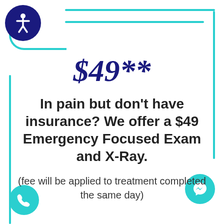$49**
In pain but don't have insurance? We offer a $49 Emergency Focused Exam and X-Ray.
(fee will be applied to treatment completed the same day)